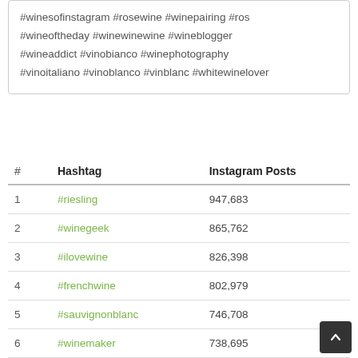#winesofinstagram #rosewine #winepairing #ros #wineoftheday #winewinewine #wineblogger #wineaddict #vinobianco #winephotography #vinoitaliano #vinoblanco #vinblanc #whitewinelover
| # | Hashtag | Instagram Posts |
| --- | --- | --- |
| 1 | #riesling | 947,683 |
| 2 | #winegeek | 865,762 |
| 3 | #ilovewine | 826,398 |
| 4 | #frenchwine | 802,979 |
| 5 | #sauvignonblanc | 746,708 |
| 6 | #winemaker | 738,695 |
| 7 | #winesofinstagram | 685,496 |
| 8 | #rosewine | 659,152 |